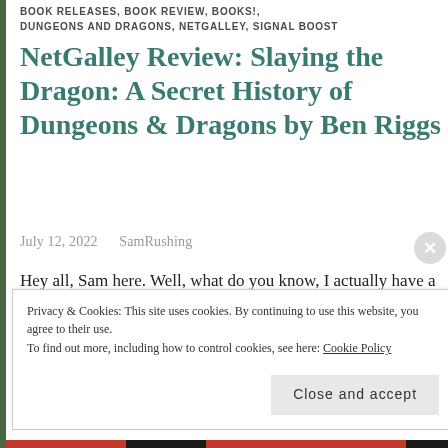BOOK RELEASES, BOOK REVIEW, BOOKS!, DUNGEONS AND DRAGONS, NETGALLEY, SIGNAL BOOST
NetGalley Review: Slaying the Dragon: A Secret History of Dungeons & Dragons by Ben Riggs
July 12, 2022   SamRushing
Hey all, Sam here. Well, what do you know, I actually have a review for a book BEFORE its release date. I'm really trying to do better; hopefully it sticks. Because, overall, I actually do miss working on this blog. It was such a big part of my life for a number of years, and… Continue reading
Privacy & Cookies: This site uses cookies. By continuing to use this website, you agree to their use.
To find out more, including how to control cookies, see here: Cookie Policy